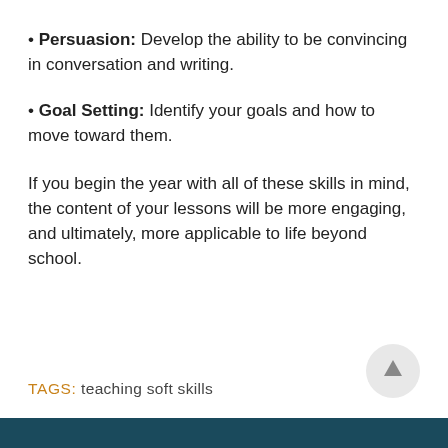Persuasion: Develop the ability to be convincing in conversation and writing.
Goal Setting: Identify your goals and how to move toward them.
If you begin the year with all of these skills in mind, the content of your lessons will be more engaging, and ultimately, more applicable to life beyond school.
TAGS: teaching soft skills